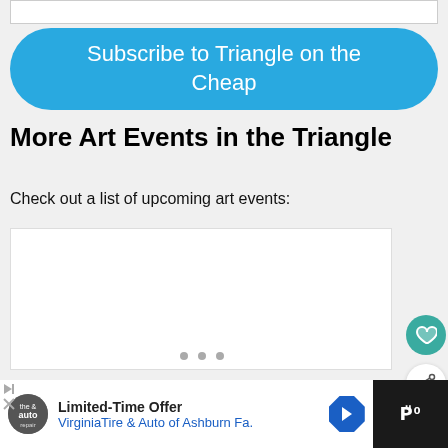[Figure (other): Empty white box at top of page]
Subscribe to Triangle on the Cheap
More Art Events in the Triangle
Check out a list of upcoming art events:
[Figure (other): White content area with carousel dots and heart/share buttons]
WHAT'S NEXT → Best Life Workshop
Limited-Time Offer VirginiaTire & Auto of Ashburn Fa.